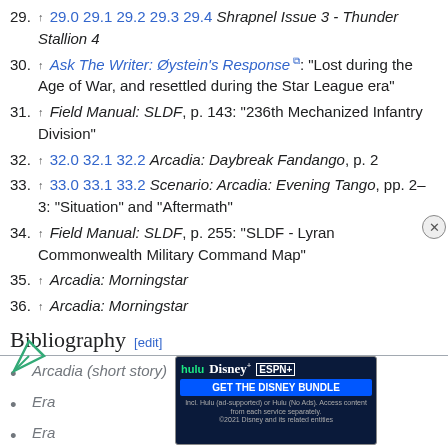29. ↑ 29.0 29.1 29.2 29.3 29.4 Shrapnel Issue 3 - Thunder Stallion 4
30. ↑ Ask The Writer: Øystein's Response [external]: "Lost during the Age of War, and resettled during the Star League era"
31. ↑ Field Manual: SLDF, p. 143: "236th Mechanized Infantry Division"
32. ↑ 32.0 32.1 32.2 Arcadia: Daybreak Fandango, p. 2
33. ↑ 33.0 33.1 33.2 Scenario: Arcadia: Evening Tango, pp. 2–3: "Situation" and "Aftermath"
34. ↑ Field Manual: SLDF, p. 255: "SLDF - Lyran Commonwealth Military Command Map"
35. ↑ Arcadia: Morningstar
36. ↑ Arcadia: Morningstar
Bibliography [edit]
• Arcadia (short story)
• Era ...
• Era ...
• Era Report: 3062
[Figure (screenshot): Advertisement banner for Disney Bundle featuring Hulu, Disney+, and ESPN+ logos with 'GET THE DISNEY BUNDLE' call to action button]